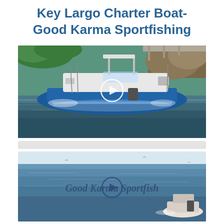Key Largo Charter Boat- Good Karma Sportfishing
[Figure (photo): Video thumbnail of a blue center-console charter boat motoring on calm water near a bridge and rocky shoreline with tropical vegetation. A circular play button overlay is centered on the image.]
[Figure (photo): Video thumbnail showing open blue ocean water with a white charter boat in the lower right corner. Text 'Good Karma Sportfish' overlaid in dark blue italic across the center. A circular play button overlay is centered on the image.]